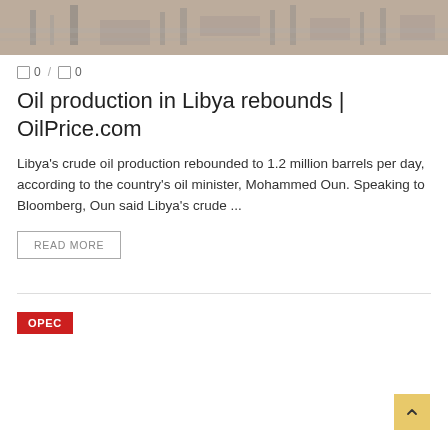[Figure (photo): Aerial or ground-level photo of oil refinery or pipeline infrastructure, muted brownish-grey tones]
□ 0 / □ 0
Oil production in Libya rebounds | OilPrice.com
Libya's crude oil production rebounded to 1.2 million barrels per day, according to the country's oil minister, Mohammed Oun. Speaking to Bloomberg, Oun said Libya's crude ...
READ MORE
OPEC